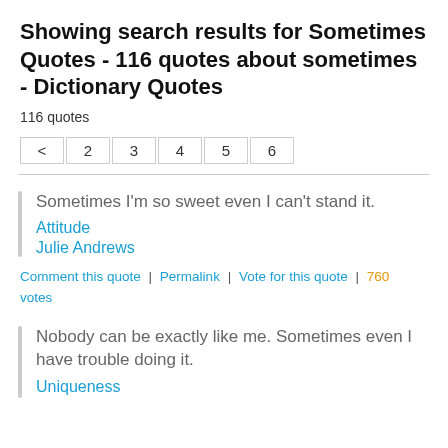Showing search results for Sometimes Quotes - 116 quotes about sometimes - Dictionary Quotes
116 quotes
< 2 3 4 5 6
Sometimes I'm so sweet even I can't stand it.
Attitude
Julie Andrews
Comment this quote | Permalink | Vote for this quote | 760 votes
Nobody can be exactly like me. Sometimes even I have trouble doing it.
Uniqueness